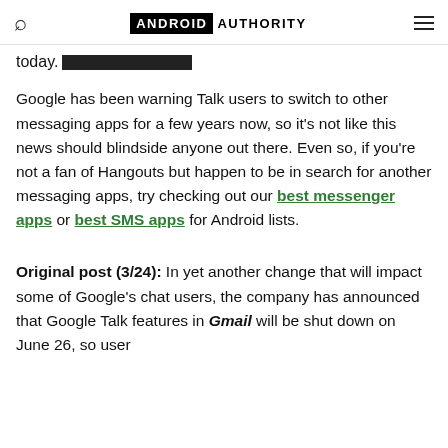ANDROID AUTHORITY
today.
Google has been warning Talk users to switch to other messaging apps for a few years now, so it’s not like this news should blindside anyone out there. Even so, if you’re not a fan of Hangouts but happen to be in search for another messaging apps, try checking out our best messenger apps or best SMS apps for Android lists.
Original post (3/24): In yet another change that will impact some of Google’s chat users, the company has announced that Google Talk features in Gmail will be shut down on June 26, so user